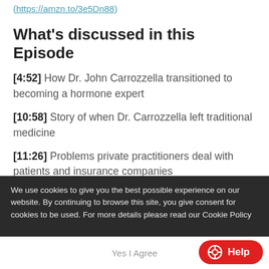(https://amzn.to/3e5Dn88)
What's discussed in this Episode
[4:52] How Dr. John Carrozzella transitioned to becoming a hormone expert
[10:58] Story of when Dr. Carrozzella left traditional medicine
[11:26] Problems private practitioners deal with patients and insurance companies
We use cookies to give you the best possible experience on our website. By continuing to browse this site, you give consent for cookies to be used. For more details please read our Cookie Policy
Yes I Agree